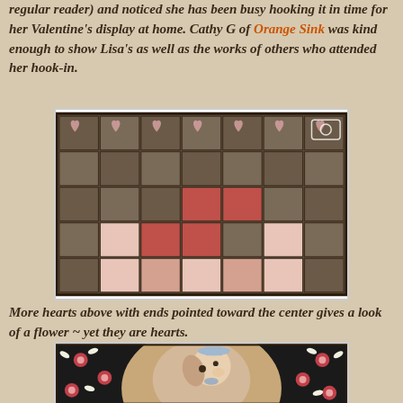regular reader) and noticed she has been busy hooking it in time for her Valentine's display at home. Cathy G of Orange Sink was kind enough to show Lisa's as well as the works of others who attended her hook-in.
[Figure (photo): A hooked rug featuring a grid of heart shapes arranged in rows and columns on a dark background, with hearts in various shades of pink, red, and cream, creating a flower-like pattern where hearts point toward the center of each cluster.]
More hearts above with ends pointed toward the center gives a look of a flower ~ yet they are hearts.
[Figure (photo): A hooked rug depicting a dog (appears to be a spaniel or similar breed) with a bow, surrounded by a border of red flowers with white petals and dark green leaves on a black background.]